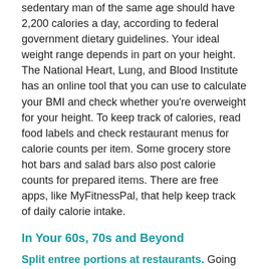sedentary man of the same age should have 2,200 calories a day, according to federal government dietary guidelines. Your ideal weight range depends in part on your height. The National Heart, Lung, and Blood Institute has an online tool that you can use to calculate your BMI and check whether you're overweight for your height. To keep track of calories, read food labels and check restaurant menus for calorie counts per item. Some grocery store hot bars and salad bars also post calorie counts for prepared items. There are free apps, like MyFitnessPal, that help keep track of daily calorie intake.
In Your 60s, 70s and Beyond
Split entree portions at restaurants. Going out to eat remains a major part of socializing for people in their 60s, 70s and beyond. Unfortunately, many restaurant portions are large, particularly if you're at an age where you need fewer calories, Gomer says.